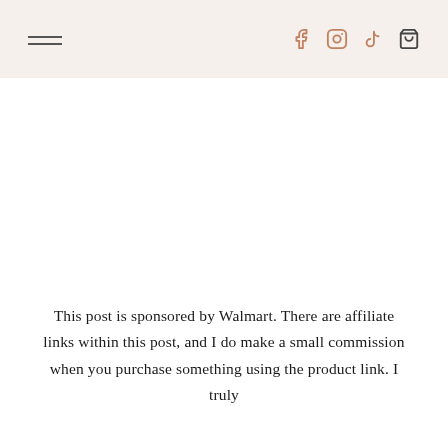[hamburger menu] [facebook] [instagram] [tiktok] [cart]
This post is sponsored by Walmart. There are affiliate links within this post, and I do make a small commission when you purchase something using the product link. I truly